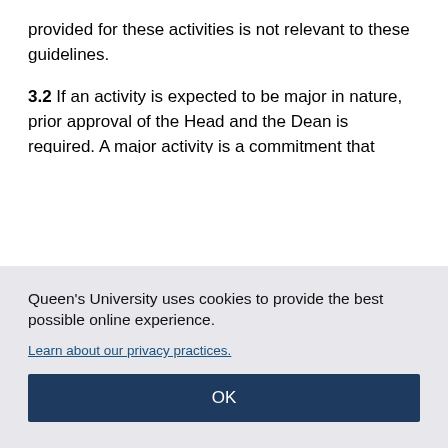provided for these activities is not relevant to these guidelines.
3.2 If an activity is expected to be major in nature, prior approval of the Head and the Dean is required. A major activity is a commitment that involves a faculty member for a week or more of consecutive full-time activity or a long-term continuing commitment, for example, one requiring periodic absences. A commitment to a group of minor activities, related or unrelated, although requiring less than a full week at any one time, may also be
Queen's University uses cookies to provide the best possible online experience.
Learn about our privacy practices.
OK